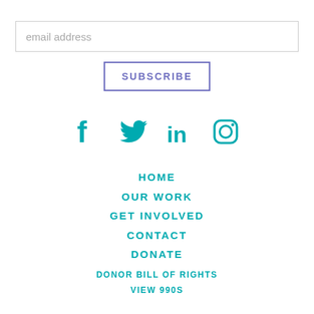email address
SUBSCRIBE
[Figure (illustration): Social media icons: Facebook, Twitter, LinkedIn, Instagram in teal color]
HOME
OUR WORK
GET INVOLVED
CONTACT
DONATE
DONOR BILL OF RIGHTS
VIEW 990S